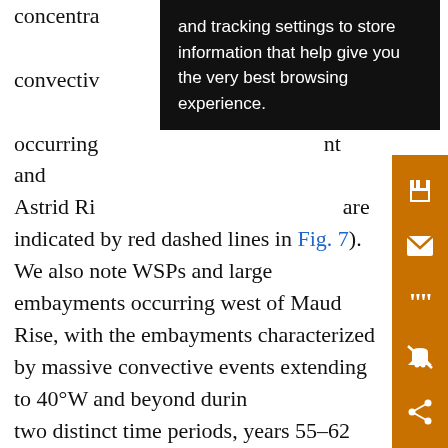concentra...deep convective...MRPs occurring...nt and Astrid Rid...are indicated by red dashed lines in Fig. 7). We also note WSPs and large embayments occurring west of Maud Rise, with the embayments characterized by massive convective events extending to 40°W and beyond during two distinct time periods, years 55–62 and 105–115. Prior to WSPs, convection initiates over the Maud Rise–Astrid Ridge complex causing MRPs. The associated pattern of deep mixed layer and low ice concentration propagates slowly westward into the central Weddell Sea. The annual maximum mixed layer depth of each of the six MRP events is greater than 500 m. This allows the core of the WDW to break into the surface layer, which leads to sea ice melt...
and tracking settings to store information that help give you the very best browsing experience.